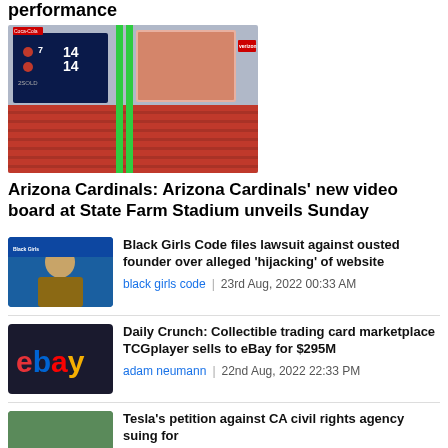performance
[Figure (photo): Stadium video board at State Farm Stadium showing scoreboard with 14-14 score and large LED screens above red stadium seats]
Arizona Cardinals: Arizona Cardinals' new video board at State Farm Stadium unveils Sunday
[Figure (photo): Person speaking at Black Girls Code event with blue background]
Black Girls Code files lawsuit against ousted founder over alleged 'hijacking' of website
black girls code | 23rd Aug, 2022 00:33 AM
[Figure (photo): eBay logo illuminated on dark background]
Daily Crunch: Collectible trading card marketplace TCGplayer sells to eBay for $295M
adam neumann | 22nd Aug, 2022 22:33 PM
[Figure (photo): Partial image, Tesla related]
Tesla's petition against CA civil rights agency suing for